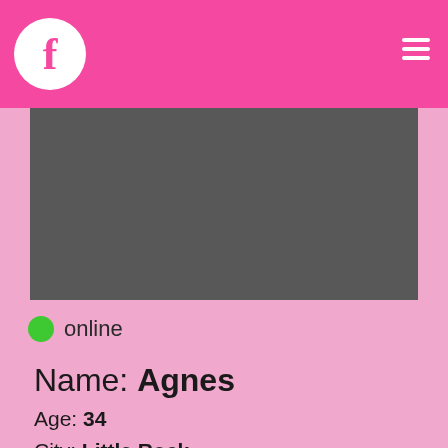[Figure (screenshot): Pink top navigation bar with circular Facebook logo icon on the left and hamburger menu icon on the right]
[Figure (photo): Dark gray rectangular photo/image area (profile picture placeholder)]
online
Name: Agnes
Age: 34
City: Little Rock
Hair: Not important
Relation Type: Attention All Women Take A Look If You Want
Seeking: I Am Ready Sex Meeting
Relationship Status: Divorced